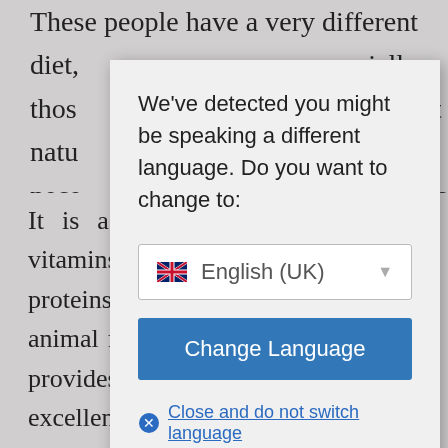These people have a very different diet, especially those who do it living in a more able and ought naturally thought not necessarily always to tell most obvious have a healthy about mediterranean vegan diet.
[Figure (screenshot): Language change modal dialog with 'English (UK)' dropdown and 'Change Language' button over a dimmed background text]
It is a fact that the body needs vitamins, nutrients, minerals and proteins, all of which are found in animal foods. However, a vegan diet provides a vegan person with an excellent source of many